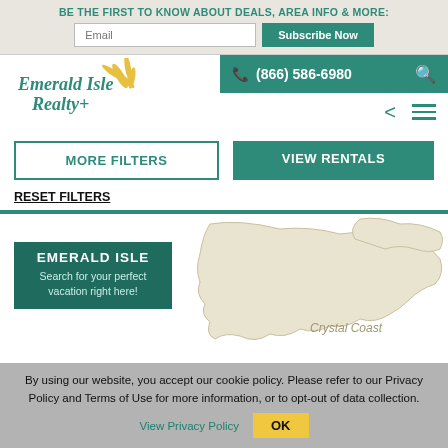BE THE FIRST TO KNOW ABOUT DEALS, AREA INFO & MORE:
Email | Subscribe Now
[Figure (logo): Emerald Isle Realty logo with teal script text and yellow palm/wheat illustration]
(866) 586-6980
MORE FILTERS
VIEW RENTALS
RESET FILTERS
[Figure (map): Outline map of Crystal Coast / Emerald Isle area with label 'Crystal Coast' and 'EMERALD ISLE - Search for your perfect vacation right here!']
By using our website, you accept our cookie policy. Please refer to our Privacy Policy and Terms of Use for more information, or to opt-out of data collection. View Privacy Policy OK